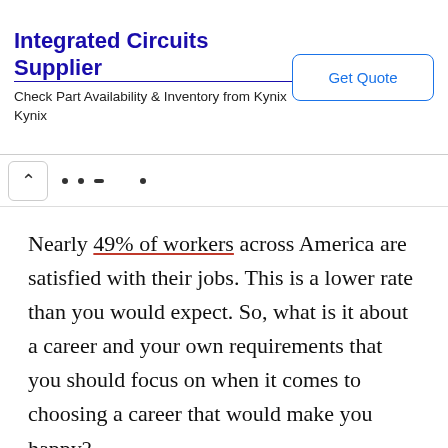Integrated Circuits Supplier
Check Part Availability & Inventory from Kynix
Kynix
Get Quote
Nearly 49% of workers across America are satisfied with their jobs. This is a lower rate than you would expect. So, what is it about a career and your own requirements that you should focus on when it comes to choosing a career that would make you happy?
You can go through the following tips to get a better idea about this.